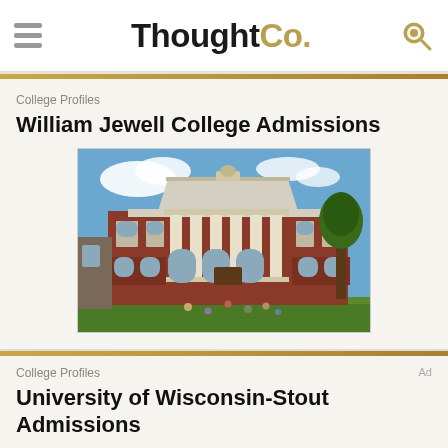ThoughtCo.
College Profiles
William Jewell College Admissions
[Figure (photo): Photograph of William Jewell College building — a large red-brick neoclassical building with white columns and pediment, blue sky with clouds in background, students on lawn in foreground.]
College Profiles
University of Wisconsin-Stout Admissions